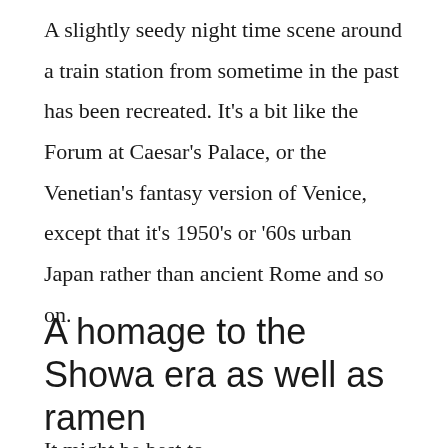A slightly seedy night time scene around a train station from sometime in the past has been recreated. It's a bit like the Forum at Caesar's Palace, or the Venetian's fantasy version of Venice, except that it's 1950's or '60s urban Japan rather than ancient Rome and so on.
A homage to the Showa era as well as ramen
It might be best to...